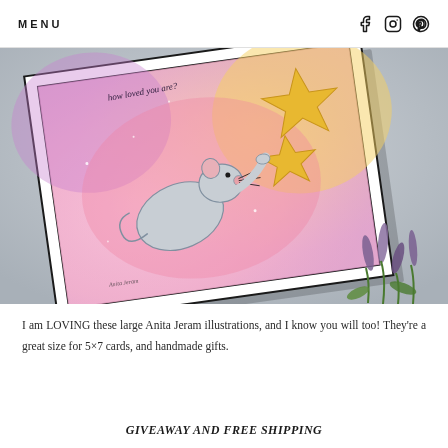MENU
[Figure (photo): A framed art card with an Anita Jeram illustration of a mouse reaching for a star, on a watercolor background of pink, purple and yellow. The card is framed in white with a black border, set on a grey stone surface with purple flowers/greenery at the bottom right.]
I am LOVING these large Anita Jeram illustrations, and I know you will too! They're a great size for 5×7 cards, and handmade gifts.
GIVEAWAY AND FREE SHIPPING